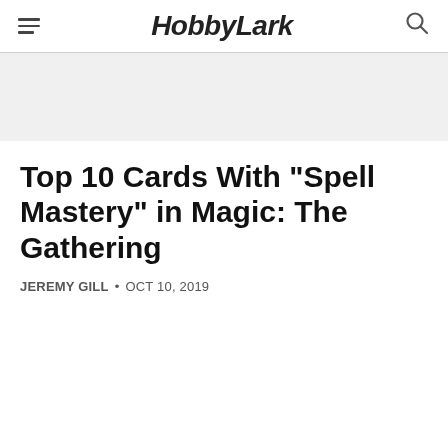HobbyLark
Top 10 Cards With "Spell Mastery" in Magic: The Gathering
JEREMY GILL • OCT 10, 2019